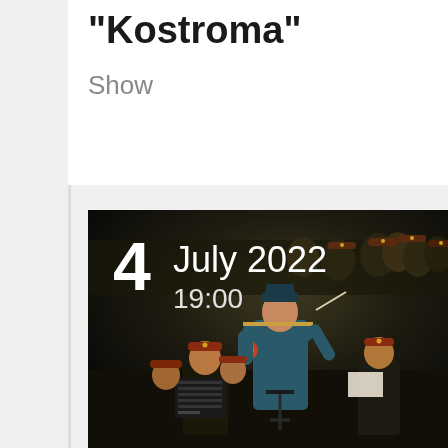"Kostroma"
Show
[Figure (photo): Military orchestra performance photo with conductor in teal uniform facing away from camera, conducting a choir and band of soldiers in military uniform. Date overlay shows '4 July 2022 19:00' in white text.]